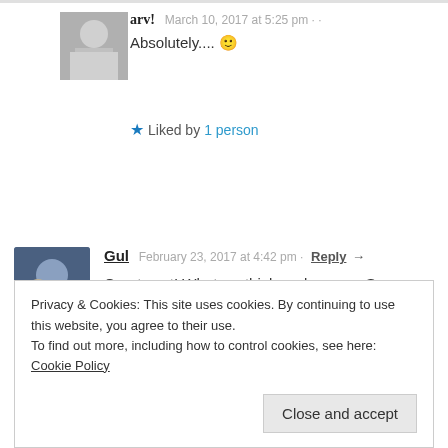arv!  March 10, 2017 at 5:25 pm
Absolutely.... 🙂
⭐ Liked by 1 person
Gul  February 23, 2017 at 4:42 pm · Reply →
Great post! What we think we become. So, happy thoughts are the key to happiness.

P.S. Believing in miracles also helps!
Privacy & Cookies: This site uses cookies. By continuing to use this website, you agree to their use.
To find out more, including how to control cookies, see here: Cookie Policy
Close and accept
You've summarized it well 🙂